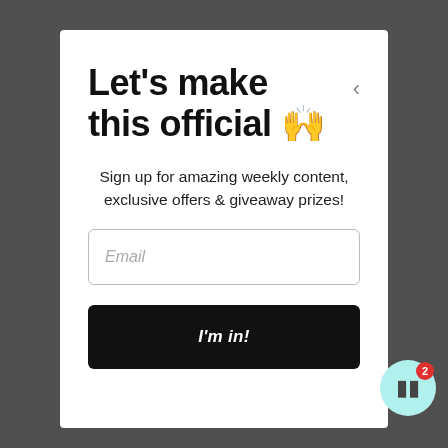Let's make this official 🙌
Sign up for amazing weekly content, exclusive offers & giveaway prizes!
[Figure (screenshot): Email input field with placeholder text 'Email']
[Figure (screenshot): Black submit button with italic text "I'm in!"]